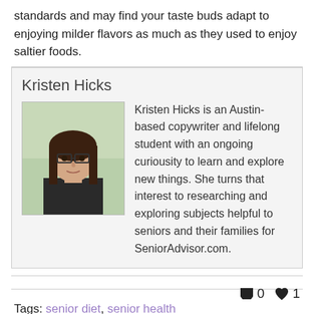standards and may find your taste buds adapt to enjoying milder flavors as much as they used to enjoy saltier foods.
Kristen Hicks is an Austin-based copywriter and lifelong student with an ongoing curiousity to learn and explore new things. She turns that interest to researching and exploring subjects helpful to seniors and their families for SeniorAdvisor.com.
Tags: senior diet, senior health
0 1